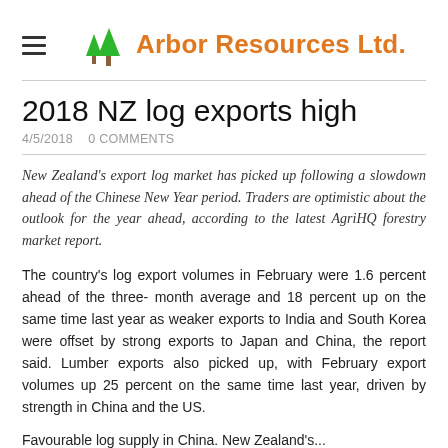Arbor Resources Ltd.
2018 NZ log exports high
4/5/2018   0 COMMENTS
New Zealand's export log market has picked up following a slowdown ahead of the Chinese New Year period. Traders are optimistic about the outlook for the year ahead, according to the latest AgriHQ forestry market report.
The country's log export volumes in February were 1.6 percent ahead of the three- month average and 18 percent up on the same time last year as weaker exports to India and South Korea were offset by strong exports to Japan and China, the report said. Lumber exports also picked up, with February export volumes up 25 percent on the same time last year, driven by strength in China and the US.
Favourable log supply in China. New Zealand's...